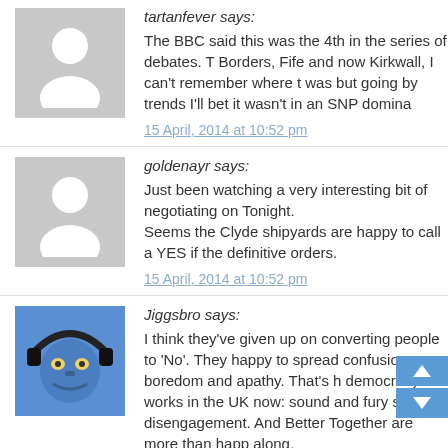tartanfever says:
The BBC said this was the 4th in the series of debates. T Borders, Fife and now Kirkwall, I can't remember where t was but going by trends I'll bet it wasn't in an SNP domina
15 April, 2014 at 10:52 pm
goldenayr says:
Just been watching a very interesting bit of negotiating on Tonight. Seems the Clyde shipyards are happy to call a YES if the definitive orders.
15 April, 2014 at 10:52 pm
Jiggsbro says:
I think they've given up on converting people to 'No'. They happy to spread confusion, boredom and apathy. That's h democracy works in the UK now: sound and fury signifyin disengagement. And Better Together are more than happ along.
15 April, 2014 at 10:53 pm